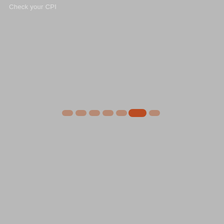Check your CPI
[Figure (other): A loading spinner/progress indicator consisting of a row of rounded pill-shaped dots. Six smaller muted orange/tan dots on the left, one larger brighter orange-red elongated pill in the center (active/selected state), followed by two smaller muted orange dots on the right. The dots are arranged horizontally on a gray background, resembling a pagination or loading indicator.]